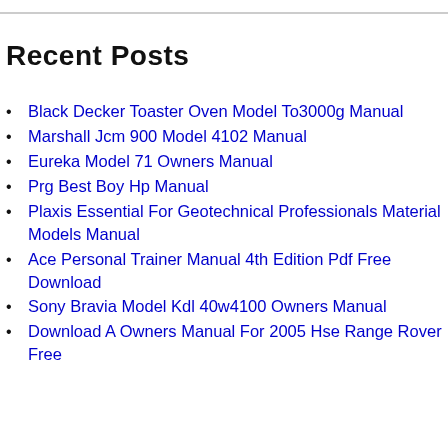Recent Posts
Black Decker Toaster Oven Model To3000g Manual
Marshall Jcm 900 Model 4102 Manual
Eureka Model 71 Owners Manual
Prg Best Boy Hp Manual
Plaxis Essential For Geotechnical Professionals Material Models Manual
Ace Personal Trainer Manual 4th Edition Pdf Free Download
Sony Bravia Model Kdl 40w4100 Owners Manual
Download A Owners Manual For 2005 Hse Range Rover Free